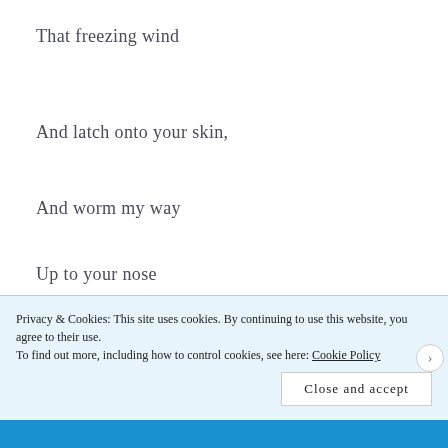That freezing wind
And latch onto your skin,
And worm my way
Up to your nose
Privacy & Cookies: This site uses cookies. By continuing to use this website, you agree to their use.
To find out more, including how to control cookies, see here: Cookie Policy
Close and accept